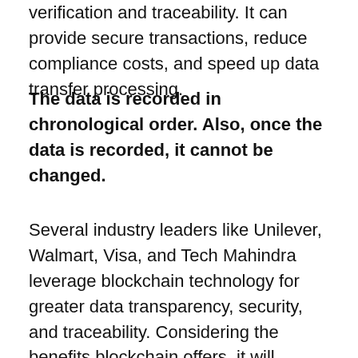verification and traceability. It can provide secure transactions, reduce compliance costs, and speed up data transfer processing.
The data is recorded in chronological order. Also, once the data is recorded, it cannot be changed.
Several industry leaders like Unilever, Walmart, Visa, and Tech Mahindra leverage blockchain technology for greater data transparency, security, and traceability. Considering the benefits blockchain offers, it will revolutionize and redefine many sectors.